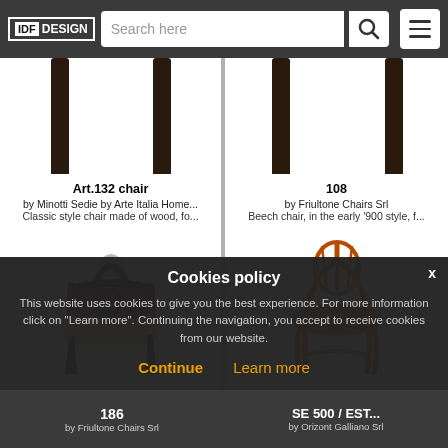IDF DESIGN — Search here
[Figure (photo): Partially visible dark wood chair legs and base, white background, top row left product card]
[Figure (photo): Partially visible dark wood chair legs and base, white background, top row right product card]
Art.132 chair
by Minotti Sedie by Arte Italia Home...
Classic style chair made of wood, fo...
[Figure (photo): Dark mahogany carved dining chair with upholstered cream seat, classic Empire style]
108
by Friultone Chairs Srl
Beech chair, in the early '900 style, f...
[Figure (photo): Orange/amber bentwood style chair with circular seat and fan back, early 1900s Thonet style]
Cookies policy
This website uses cookies to give you the best experience. For more information click on "Learn more". Continuing the navigation, you accept to receive cookies from our website.
Continue
Learn more
186
by Friultone Chairs Srl
SE 500 / EST...
by Orizont Galliano Srl